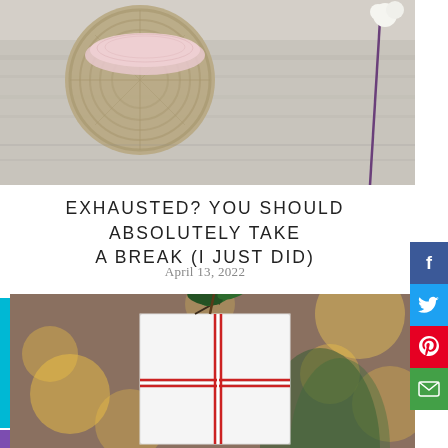[Figure (photo): Top-down view of a table setting with a woven placemat, pink plate, linen fabric, and a decorative plant with white cotton bolls.]
EXHAUSTED? YOU SHOULD ABSOLUTELY TAKE A BREAK (I JUST DID)
April 13, 2022
[Figure (photo): A white gift box wrapped with red and white twine and decorated with a green holly branch, against a bokeh background of warm lights and a Christmas tree.]